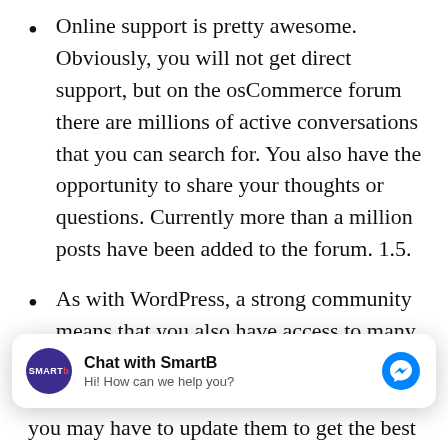Online support is pretty awesome. Obviously, you will not get direct support, but on the osCommerce forum there are millions of active conversations that you can search for. You also have the opportunity to share your thoughts or questions. Currently more than a million posts have been added to the forum. 1.5.
As with WordPress, a strong community means that you also have access to many plugins and add-ons. The developers basically distribute them for free, but you will also find some for you may have to update them to get the best
[Figure (other): Chat with SmartB messenger widget. Shows SmartB logo (purple circle with SMARTB text), title 'Chat with SmartB', subtitle 'Hi! How can we help you?', and a blue Facebook Messenger icon on the right.]